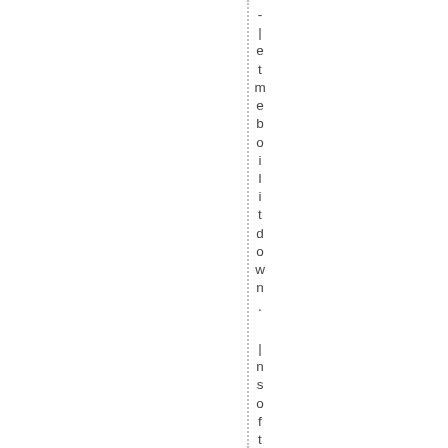,-letmeboilitdown. Insoftware ,as